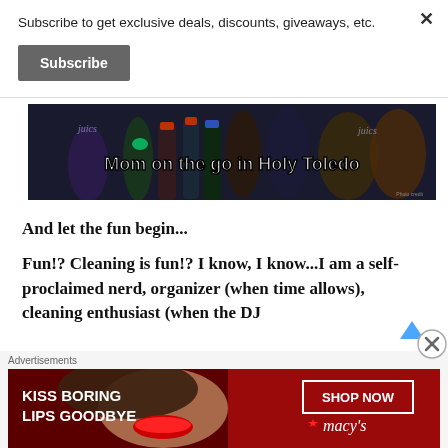Subscribe to get exclusive deals, discounts, giveaways, etc.
Subscribe
[Figure (photo): Dark photo of juice/cleaning product bottles with white bold text overlay reading 'Mom on the go in Holy Toledo']
And let the fun begin...
Fun!? Cleaning is fun!? I know, I know...I am a self-proclaimed nerd, organizer (when time allows), cleaning enthusiast (when the DJ plays my tunes), and coffee junkie but tha...
Advertisements
[Figure (photo): Macy's ad banner: 'KISS BORING LIPS GOODBYE' with woman's face and lipstick, 'SHOP NOW' button and Macy's star logo on red background]